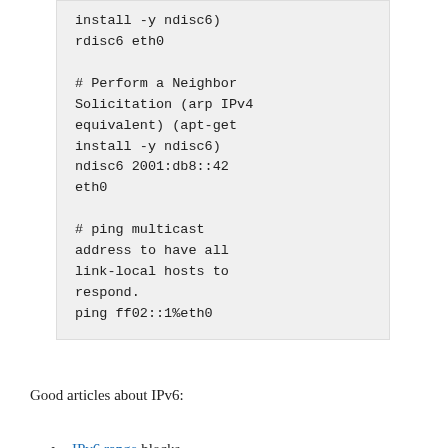install -y ndisc6)
rdisc6 eth0

# Perform a Neighbor Solicitation (arp IPv4 equivalent) (apt-get install -y ndisc6)
ndisc6 2001:db8::42 eth0

# ping multicast address to have all link-local hosts to respond.
ping ff02::1%eth0
Good articles about IPv6:
IPv6 range blocks
IPv6 unicast, anycast, multicast – well known addresses.
Troubleshooting tools: